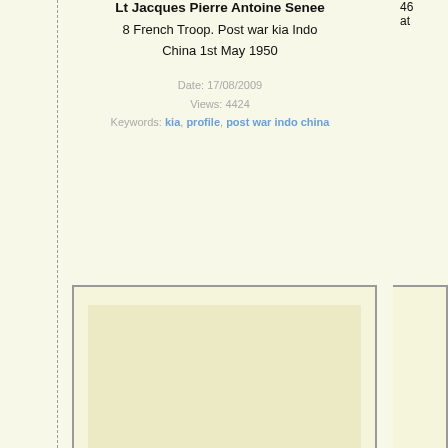Lt Jacques Pierre Antoine Senee
8 French Troop. Post war kia Indo China 1st May 1950
Date: 17/08/2009
Views: 4424
Keywords: kia, profile, post war indo china
[Figure (photo): Placeholder image frame for Sergeant Henry William Hill profile photo]
Sergeant Henry William Hill
40RM Commando died 11/4/1945 Italy. Photo courtesy of Guy Hudson.
Date: 21/05/2017
Views: 2295
Keywords: profile, kia